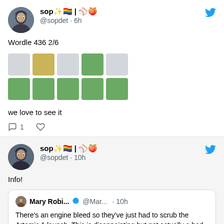[Figure (screenshot): Twitter/X tweet from @sopdet posted 6h ago with display name 'sop✨🏳️‍🌈|⚾🍑', showing Wordle 436 2/6 result with a 2-row 5-column grid of colored squares and text 'we love to see it', with 1 reply and heart icon]
[Figure (screenshot): Twitter/X tweet from @sopdet posted 10h ago with display name 'sop✨🏳️‍🌈|⚾🍑', showing text 'Info!' and a quoted tweet from Mary Robi... @Mar... 10h saying 'There's an engine bleed so they've just had to scrub the Artemis 1 launch. This is disappointing but not actually a bad thing, because it']